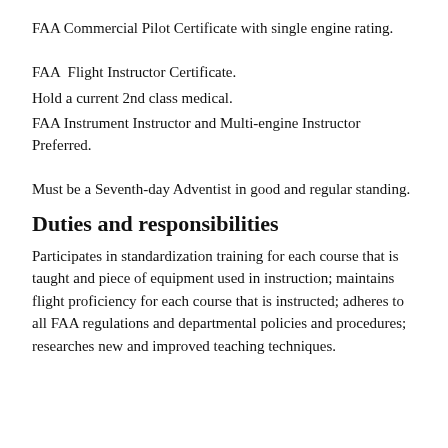FAA Commercial Pilot Certificate with single engine rating.
FAA  Flight Instructor Certificate.
Hold a current 2nd class medical.
FAA Instrument Instructor and Multi-engine Instructor Preferred.
Must be a Seventh-day Adventist in good and regular standing.
Duties and responsibilities
Participates in standardization training for each course that is taught and piece of equipment used in instruction; maintains flight proficiency for each course that is instructed; adheres to all FAA regulations and departmental policies and procedures; researches new and improved teaching techniques.